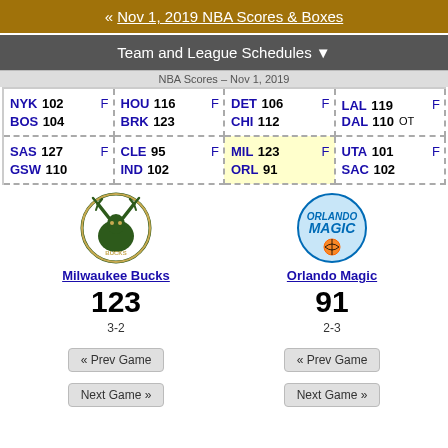« Nov 1, 2019 NBA Scores & Boxes
Team and League Schedules ▼
| Team | Score | Result | Team | Score | Result | Team | Score | Result | Team | Score | Result |
| --- | --- | --- | --- | --- | --- | --- | --- | --- | --- | --- | --- |
| NYK | 102 | F | HOU | 116 | F | DET | 106 | F | LAL | 119 | F |
| BOS | 104 |  | BRK | 123 |  | CHI | 112 |  | DAL | 110 | OT |
| SAS | 127 | F | CLE | 95 | F | MIL | 123 | F | UTA | 101 | F |
| GSW | 110 |  | IND | 102 |  | ORL | 91 |  | SAC | 102 |  |
[Figure (logo): Milwaukee Bucks team logo]
Milwaukee Bucks
123
3-2
[Figure (logo): Orlando Magic team logo]
Orlando Magic
91
2-3
« Prev Game
« Prev Game
Next Game »
Next Game »